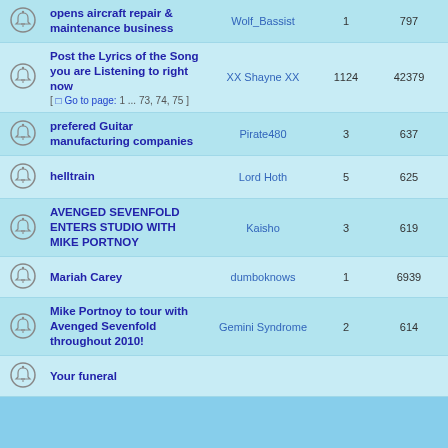|  | Topic | Author | Replies | Views | Last Post |
| --- | --- | --- | --- | --- | --- |
| [icon] | opens aircraft repair & maintenance business | Wolf_Bassist | 1 | 797 | Tue F... |
| [icon] | Post the Lyrics of the Song you are Listening to right now [Go to page: 1 ... 73, 74, 75] | XX Shayne XX | 1124 | 42379 | Thu F... |
| [icon] | prefered Guitar manufacturing companies | Pirate480 | 3 | 637 | Wed F... |
| [icon] | helltrain | Lord Hoth | 5 | 625 | Tue Ja... |
| [icon] | AVENGED SEVENFOLD ENTERS STUDIO WITH MIKE PORTNOY | Kaisho | 3 | 619 | Fri Ja... A... |
| [icon] | Mariah Carey | dumboknows | 1 | 6939 | Tue Ja... |
| [icon] | Mike Portnoy to tour with Avenged Sevenfold throughout 2010! | Gemini Syndrome | 2 | 614 | Fri Ja... Ma... |
| [icon] | Your funeral |  |  |  |  |